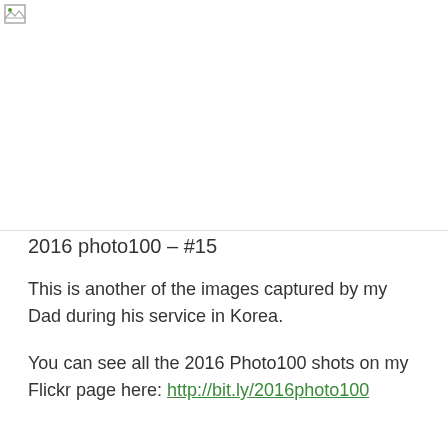[Figure (photo): Broken/missing image placeholder in top-left corner of a large white image area]
2016 photo100 – #15
This is another of the images captured by my Dad during his service in Korea.
You can see all the 2016 Photo100 shots on my Flickr page here: http://bit.ly/2016photo100